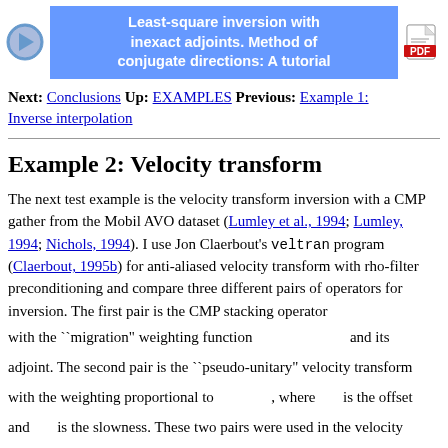Least-square inversion with inexact adjoints. Method of conjugate directions: A tutorial
Next: Conclusions Up: EXAMPLES Previous: Example 1: Inverse interpolation
Example 2: Velocity transform
The next test example is the velocity transform inversion with a CMP gather from the Mobil AVO dataset (Lumley et al., 1994; Lumley, 1994; Nichols, 1994). I use Jon Claerbout's veltran program (Claerbout, 1995b) for anti-aliased velocity transform with rho-filter preconditioning and compare three different pairs of operators for inversion. The first pair is the CMP stacking operator with the ``migration'' weighting function [formula] and its adjoint. The second pair is the ``pseudo-unitary'' velocity transform with the weighting proportional to [formula], where [h] is the offset and [p] is the slowness. These two pairs were used in the velocity